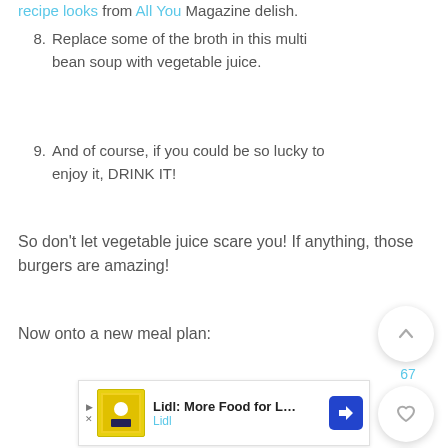recipe looks from All You Magazine delish.
8. Replace some of the broth in this multi bean soup with vegetable juice.
9. And of course, if you could be so lucky to enjoy it, DRINK IT!
So don't let vegetable juice scare you!  If anything, those burgers are amazing!
Now onto a new meal plan:
[Figure (screenshot): UI buttons: scroll-up arrow button, count 67, heart/favorite button, teal search button]
[Figure (infographic): Advertisement banner: Lidl: More Food for Less Money, Lidl brand ad with navigation icon]